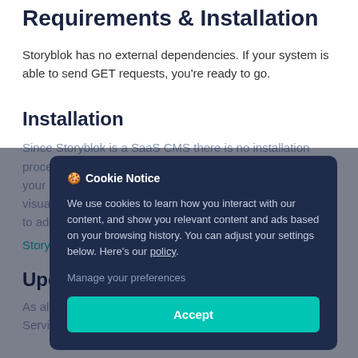Requirements & Installation
Storyblok has no external dependencies. If your system is able to send GET requests, you're ready to go.
Installation
Since Storyblok is a SaaS CMS there is no installation process. All you have to do is sign up, log in, and create your content types / component schemas and enable the visual editor. To use Storyblok components, you will have to add the Storyblok JavaScript guides
Updates
As already mentioned, Storyblok is a SaaS (Software as a Service) product. That means we do the heavy
Cookie Notice
We use cookies to learn how you interact with our content, and show you relevant content and ads based on your browsing history. You can adjust your settings below. Here's our policy.
Manage your preferences
Accept